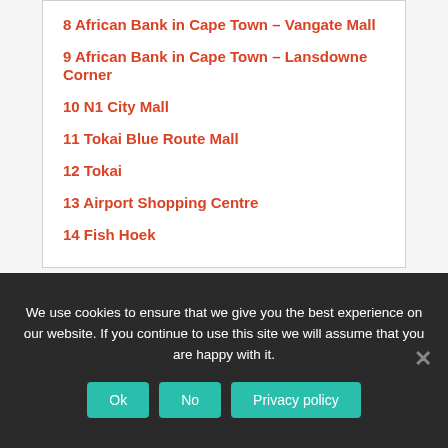8 African Bank in Cape Town – Vangate Mall
9 African Bank in Cape Town – Lansdowne Corner
10 N1 City Mall
11 Tokai Blue Route Mall
12 Tokai
13 Airport Shopping Centre
14 Fish Hoek
We use cookies to ensure that we give you the best experience on our website. If you continue to use this site we will assume that you are happy with it.
Ok
No
Privacy policy